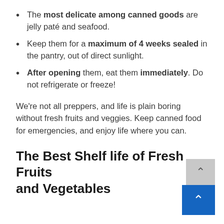The most delicate among canned goods are jelly paté and seafood.
Keep them for a maximum of 4 weeks sealed in the pantry, out of direct sunlight.
After opening them, eat them immediately. Do not refrigerate or freeze!
We're not all preppers, and life is plain boring without fresh fruits and veggies. Keep canned food for emergencies, and enjoy life where you can.
The Best Shelf life of Fresh Fruits and Vegetables